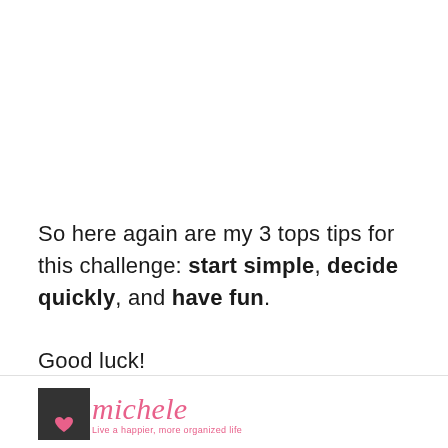So here again are my 3 tops tips for this challenge: start simple, decide quickly, and have fun.
Good luck!
[Figure (logo): Michele brand logo with dark box icon with heart, cursive pink 'michele' text, and tagline 'Live a happier, more organized life']